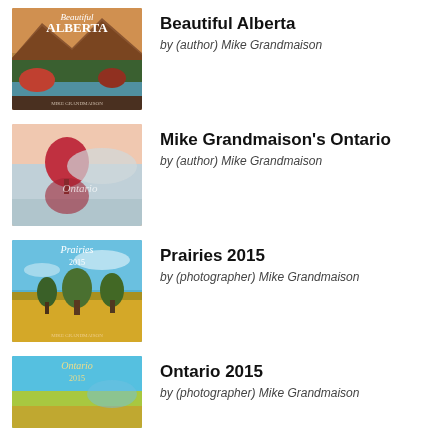[Figure (photo): Book cover: Beautiful Alberta by Mike Grandmaison — mountain landscape with river and autumn foliage]
Beautiful Alberta
by (author) Mike Grandmaison
[Figure (photo): Book cover: Mike Grandmaison's Ontario — red tree reflected in misty lake]
Mike Grandmaison's Ontario
by (author) Mike Grandmaison
[Figure (photo): Book cover: Prairies 2015 — trees on prairie landscape with golden fields]
Prairies 2015
by (photographer) Mike Grandmaison
[Figure (photo): Book cover: Ontario 2015 — landscape photography]
Ontario 2015
by (photographer) Mike Grandmaison